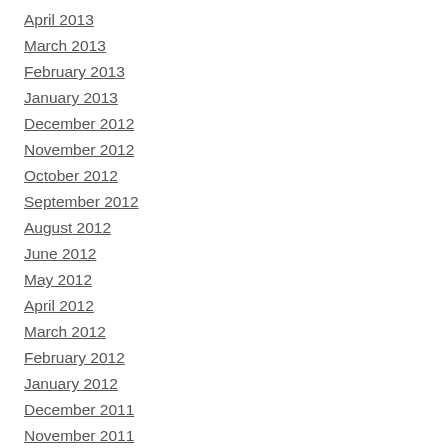April 2013
March 2013
February 2013
January 2013
December 2012
November 2012
October 2012
September 2012
August 2012
June 2012
May 2012
April 2012
March 2012
February 2012
January 2012
December 2011
November 2011
October 2011
September 2011